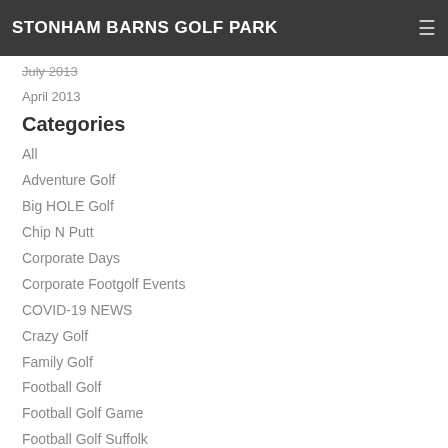STONHAM BARNS GOLF PARK
July 2013
April 2013
Categories
All
Adventure Golf
Big HOLE Golf
Chip N Putt
Corporate Days
Corporate Footgolf Events
COVID-19 NEWS
Crazy Golf
Family Golf
Football Golf
Football Golf Game
Football Golf Suffolk
Footgolf
Footgolf East Anglia